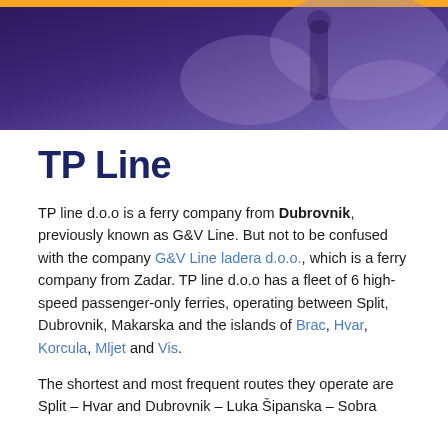[Figure (photo): Hero banner with blue-purple gradient background showing a blurred person holding a drink, with an orange bar at the top]
TP Line
TP line d.o.o is a ferry company from Dubrovnik, previously known as G&V Line. But not to be confused with the company G&V Line ladera d.o.o., which is a ferry company from Zadar. TP line d.o.o has a fleet of 6 high-speed passenger-only ferries, operating between Split, Dubrovnik, Makarska and the islands of Brac, Hvar, Korcula, Mljet and Vis.
The shortest and most frequent routes they operate are Split – Hvar and Dubrovnik – Luka Šipanska – Sobra